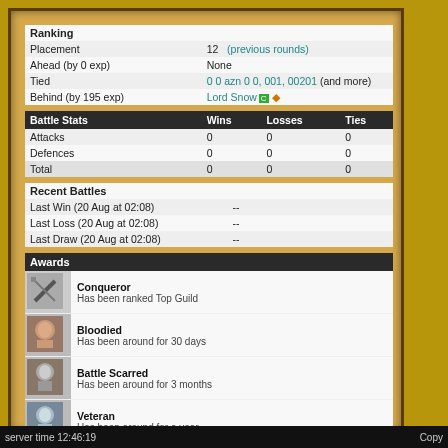Ranking
| Placement | 12  (previous rounds) |
| Ahead (by 0 exp) | None |
| Tied | 0 0 azn 0 0, 001, 00201 (and more) |
| Behind (by 195 exp) | Lord Snow [C] [gem] |
Battle Stats
| Battle Stats | Wins | Losses | Ties |
| --- | --- | --- | --- |
| Attacks | 0 | 0 | 0 |
| Defences | 0 | 0 | 0 |
| Total | 0 | 0 | 0 |
Recent Battles
| Last Win (20 Aug at 02:08) | -- |
| Last Loss (20 Aug at 02:08) | -- |
| Last Draw (20 Aug at 02:08) | -- |
Awards
| [icon] | Conqueror | Has been ranked Top Guild |
| [icon] | Bloodied | Has been around for 30 days |
| [icon] | Battle Scarred | Has been around for 3 months |
| [icon] | Veteran | Has been around for a year |
| [icon] | Old Master | Has been around for ever (it seems!) |
server time 12:46:19   Copy